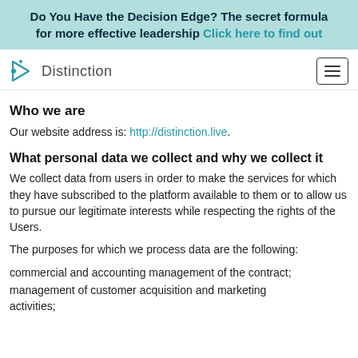Do You Have the Decision Edge? The secret formula for more effective leadership Click here to find out
[Figure (logo): Distinction logo with teal triangle/arrow icon and dot]
Who we are
Our website address is: http://distinction.live.
What personal data we collect and why we collect it
We collect data from users in order to make the services for which they have subscribed to the platform available to them or to allow us to pursue our legitimate interests while respecting the rights of the Users.
The purposes for which we process data are the following:
commercial and accounting management of the contract;
management of customer acquisition and marketing activities;